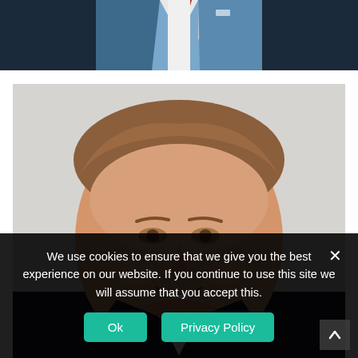[Figure (photo): Partial view of a man in a light blue suit jacket with a red tie against a dark background, cropped at chest level showing only the torso and lower face area.]
[Figure (photo): Professional headshot of a smiling young man with light brown hair, wearing a dark suit, against a light grey background.]
We use cookies to ensure that we give you the best experience on our website. If you continue to use this site we will assume that you accept this.
Ok
Privacy Policy